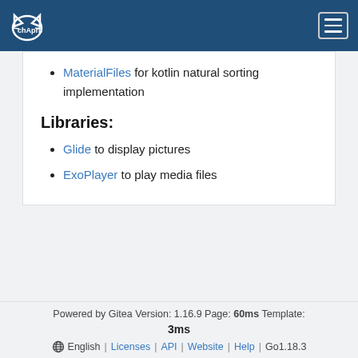chApril [logo] [hamburger menu]
MaterialFiles for kotlin natural sorting implementation
Libraries:
Glide to display pictures
ExoPlayer to play media files
Powered by Gitea Version: 1.16.9 Page: 60ms Template: 3ms | English | Licenses | API | Website | Help | Go1.18.3